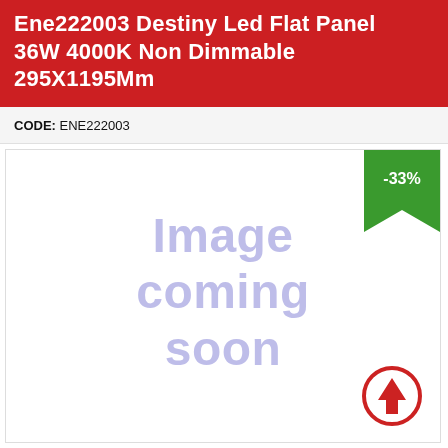Ene222003 Destiny Led Flat Panel 36W 4000K Non Dimmable 295X1195Mm
CODE: ENE222003
[Figure (illustration): Placeholder image area with text 'Image coming soon' in blurry blue-purple text, a green discount badge showing -33% in the top-right corner, and a red circled upward arrow icon in the lower-right area.]